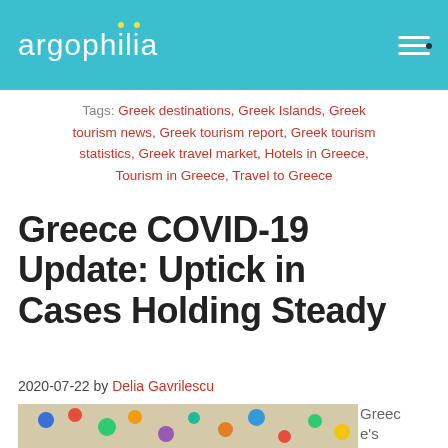argophilia
Tags: Greek destinations, Greek Islands, Greek tourism news, Greek tourism report, Greek tourism statistics, Greek travel market, Hotels in Greece, Tourism in Greece, Travel to Greece
Greece COVID-19 Update: Uptick in Cases Holding Steady
2020-07-22 by Delia Gavrilescu
[Figure (photo): Aerial view of a beach with colorful umbrellas and people]
Greece's General